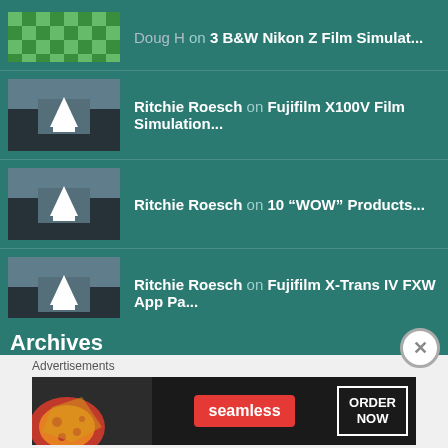Doug H on 3 B&W Nikon Z Film Simulat...
Ritchie Roesch on Fujifilm X100V Film Simulation...
Ritchie Roesch on 10 “WOW” Products...
Ritchie Roesch on Fujifilm X-Trans IV FXW App Pa...
Ritchie Roesch on 3 B&W Nikon Z Film Simulat...
Archives
Advertisements
[Figure (photo): Seamless food ordering advertisement banner with pizza image, Seamless logo in red, and ORDER NOW button]